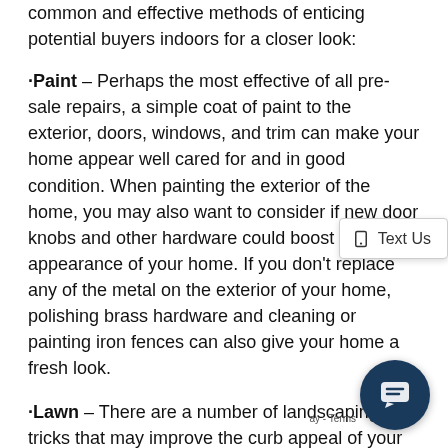common and effective methods of enticing potential buyers indoors for a closer look:
•Paint – Perhaps the most effective of all pre-sale repairs, a simple coat of paint to the exterior, doors, windows, and trim can make your home appear well cared for and in good condition. When painting the exterior of the home, you may also want to consider if new door knobs and other hardware could boost the appearance of your home. If you don't replace any of the metal on the exterior of your home, polishing brass hardware and cleaning or painting iron fences can also give your home a fresh look.
•Lawn – There are a number of landscaping tricks that may improve the curb appeal of your home. First, the lawn should be mowed, raked and edged. Next, to thoroughly weed all planter boxes, trim larger plants and include some extra flowers near the front